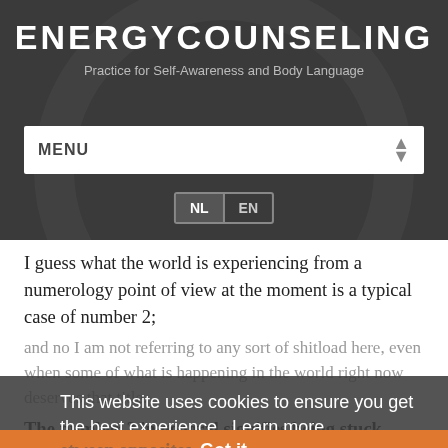EnergyCounseling
Practice for Self-Awareness and Body Language
MENU
NL EN
I guess what the world is experiencing from a numerology point of view at the moment is a typical case of number 2; and no I am not referring to any sort of shitload here, even when some of what is happening in the world right now deserves that title.
This website uses cookies to ensure you get the best experience. Learn more
The number 2 in general signifies being stuck between opposites
Got it
Where the number 1 is about all potential that can be found in basically everything;